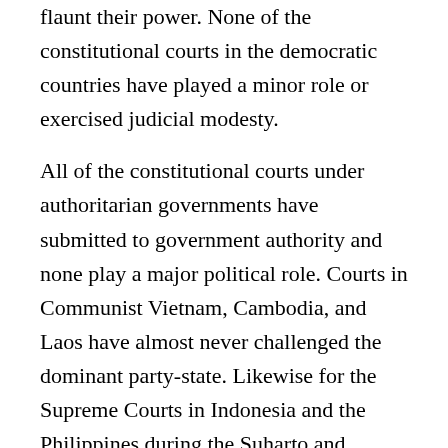flaunt their power. None of the constitutional courts in the democratic countries have played a minor role or exercised judicial modesty.
All of the constitutional courts under authoritarian governments have submitted to government authority and none play a major political role. Courts in Communist Vietnam, Cambodia, and Laos have almost never challenged the dominant party-state. Likewise for the Supreme Courts in Indonesia and the Philippines during the Suharto and Marcos eras. As we saw recently, Burma's courts assisted the military in prosecuting political dissidents, including Aung San Suu Kyi. With a few exceptions, these courts have not issued shocking verdicts against the executive (I don't count the Philippine Supreme Court's decision to certify the 1986 election, since by that point Marcos was effectively on his way out). In fact,